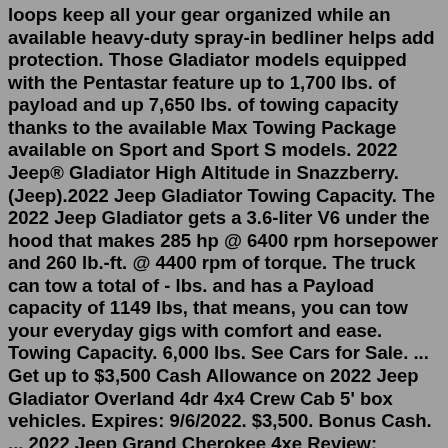loops keep all your gear organized while an available heavy-duty spray-in bedliner helps add protection. Those Gladiator models equipped with the Pentastar feature up to 1,700 lbs. of payload and up 7,650 lbs. of towing capacity thanks to the available Max Towing Package available on Sport and Sport S models. 2022 Jeep® Gladiator High Altitude in Snazzberry. (Jeep).2022 Jeep Gladiator Towing Capacity. The 2022 Jeep Gladiator gets a 3.6-liter V6 under the hood that makes 285 hp @ 6400 rpm horsepower and 260 lb.-ft. @ 4400 rpm of torque. The truck can tow a total of - lbs. and has a Payload capacity of 1149 lbs, that means, you can tow your everyday gigs with comfort and ease. Towing Capacity. 6,000 lbs. See Cars for Sale. ... Get up to $3,500 Cash Allowance on 2022 Jeep Gladiator Overland 4dr 4x4 Crew Cab 5' box vehicles. Expires: 9/6/2022. $3,500. Bonus Cash. ... 2022 Jeep Grand Cherokee 4xe Review: Driving Impressions. 2022 Jeep Grand Wagoneer Review. Change Make /According to Mr Meunier, the Grand Cherokee 4xe should land Down Under at either the